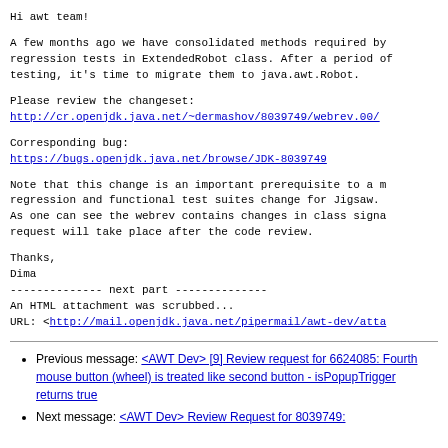Hi awt team!
A few months ago we have consolidated methods required by regression tests in ExtendedRobot class. After a period of testing, it's time to migrate them to java.awt.Robot.
Please review the changeset:
http://cr.openjdk.java.net/~dermashov/8039749/webrev.00/
Corresponding bug:
https://bugs.openjdk.java.net/browse/JDK-8039749
Note that this change is an important prerequisite to a regression and functional test suites change for Jigsaw. As one can see the webrev contains changes in class signatures request will take place after the code review.
Thanks,
Dima
-------------- next part --------------
An HTML attachment was scrubbed...
URL: <http://mail.openjdk.java.net/pipermail/awt-dev/atta
Previous message: <AWT Dev> [9] Review request for 6624085: Fourth mouse button (wheel) is treated like second button - isPopupTrigger returns true
Next message: <AWT Dev> Review Request for 8039749: